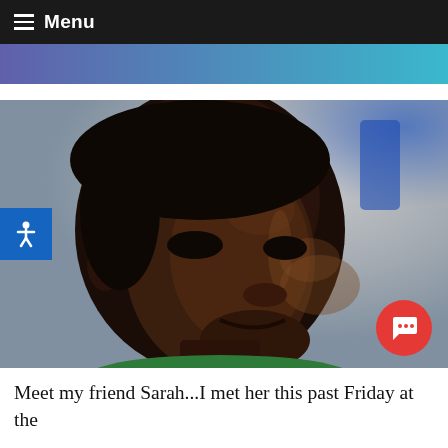Menu
[Figure (photo): A woman crying, looking upward, wearing a green top. The background is blurred with blue and grey tones. There is an accessibility button on the left side and a red chat button in the lower right corner.]
Meet my friend Sarah...I met her this past Friday at the